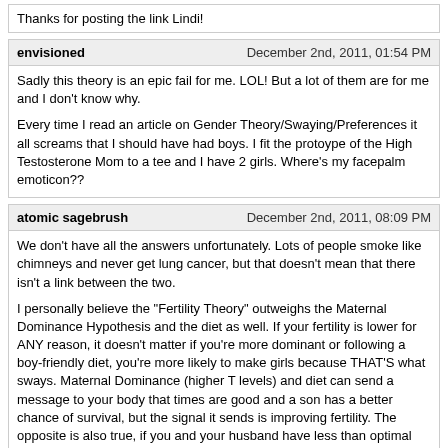Thanks for posting the link Lindi!
envisioned | December 2nd, 2011, 01:54 PM
Sadly this theory is an epic fail for me. LOL! But a lot of them are for me and I don't know why.

Every time I read an article on Gender Theory/Swaying/Preferences it all screams that I should have had boys. I fit the protoype of the High Testosterone Mom to a tee and I have 2 girls. Where's my facepalm emoticon??
atomic sagebrush | December 2nd, 2011, 08:09 PM
We don't have all the answers unfortunately. Lots of people smoke like chimneys and never get lung cancer, but that doesn't mean that there isn't a link between the two.

I personally believe the "Fertility Theory" outweighs the Maternal Dominance Hypothesis and the diet as well. If your fertility is lower for ANY reason, it doesn't matter if you're more dominant or following a boy-friendly diet, you're more likely to make girls because THAT'S what sways. Maternal Dominance (higher T levels) and diet can send a message to your body that times are good and a son has a better chance of survival, but the signal it sends is improving fertility. The opposite is also true, if you and your husband have less than optimal fertility (or at least you did during the months you conceived) then it doesn't MATTER if you are dominant and eat a blue diet, your body is getting a different message because of the lower fertility.

Don't overlook the luck factor too, even if someone was set to produce boys 90% of the time, there is still a possibility of a girl with every conception.

ALL of us can have kids of both genders at any time (and if we have enough kids, we WILL). Whatever-it-is that sways, it's just not this absolute, black and white thing, it's a gentle variation that we may not even notice going on...